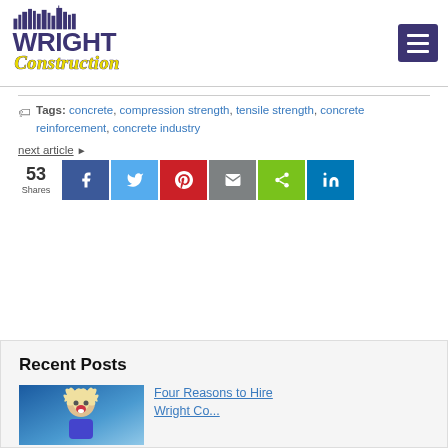[Figure (logo): Wright Construction logo with city skyline silhouette, purple and yellow text]
Tags: concrete, compression strength, tensile strength, concrete reinforcement, concrete industry
next article ▶
[Figure (infographic): Social share bar with 53 Shares count and buttons: Facebook, Twitter, Pinterest, Email, ShareThis, LinkedIn]
Recent Posts
[Figure (photo): Thumbnail photo of a person with surprise expression, blue-toned]
Four Reasons to Hire Wright Co...